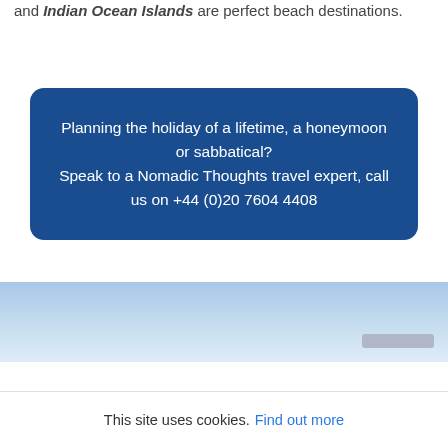and Indian Ocean Islands are perfect beach destinations.
Planning the holiday of a lifetime, a honeymoon or sabbatical?
Speak to a Nomadic Thoughts travel expert, call us on +44 (0)20 7604 4408
[Figure (photo): Light blue sky gradient band, partial view of a beach or ocean scene]
This site uses cookies. Find out more